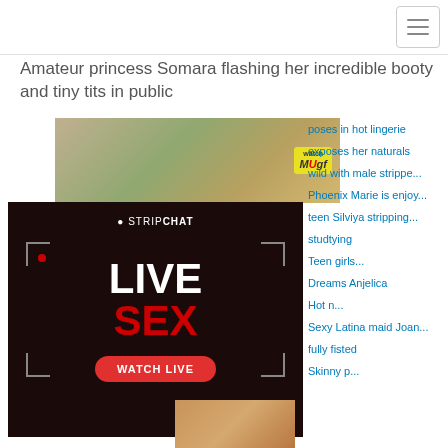Navigation bar with hamburger menu
Amateur princess Somara flashing her incredible booty and tiny tits in public
[Figure (photo): Thumbnail image with WatchMyGF watermark/badge]
[Figure (photo): Stripchat advertisement showing LIVE SEX with WATCH LIVE button and corner brackets]
poses in hot lingerie
exposes her naturals
wild with male strippe...
Phoenix Marie is enjoy...
teen Silviya stripping...
studtying   Teen girls...
Dreams Anjelica   Hot n...
Sexy Latina maid Joan...
fully fisted   Skinny p...
[Figure (photo): Partial bottom image strip showing warm brown tones]